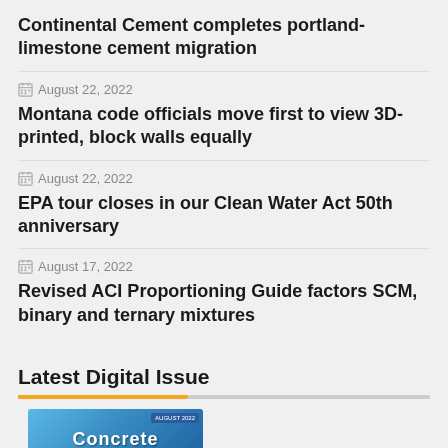Continental Cement completes portland-limestone cement migration
August 22, 2022
Montana code officials move first to view 3D-printed, block walls equally
August 22, 2022
EPA tour closes in our Clean Water Act 50th anniversary
August 17, 2022
Revised ACI Proportioning Guide factors SCM, binary and ternary mixtures
Latest Digital Issue
[Figure (photo): Magazine cover thumbnail for Concrete publication, August 2022 issue]